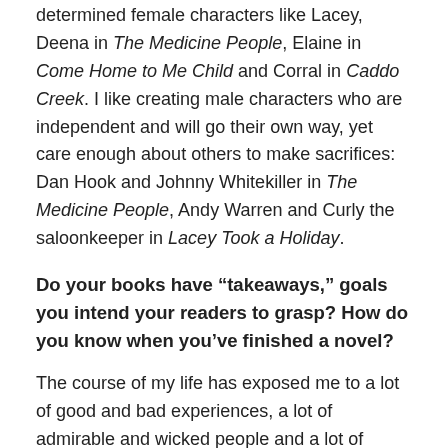determined female characters like Lacey, Deena in The Medicine People, Elaine in Come Home to Me Child and Corral in Caddo Creek. I like creating male characters who are independent and will go their own way, yet care enough about others to make sacrifices: Dan Hook and Johnny Whitekiller in The Medicine People, Andy Warren and Curly the saloonkeeper in Lacey Took a Holiday.
Do your books have “takeaways,” goals you intend your readers to grasp? How do you know when you’ve finished a novel?
The course of my life has exposed me to a lot of good and bad experiences, a lot of admirable and wicked people and a lot of wisdom and stupidity. I think, as we age, we discover many of the same truths in life, which is to say that a story can be true or it can be false: true in the sense